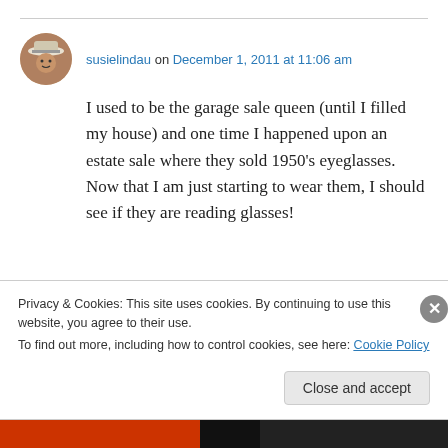susielindau on December 1, 2011 at 11:06 am
I used to be the garage sale queen (until I filled my house) and one time I happened upon an estate sale where they sold 1950’s eyeglasses. Now that I am just starting to wear them, I should see if they are reading glasses!
Privacy & Cookies: This site uses cookies. By continuing to use this website, you agree to their use.
To find out more, including how to control cookies, see here: Cookie Policy
Close and accept